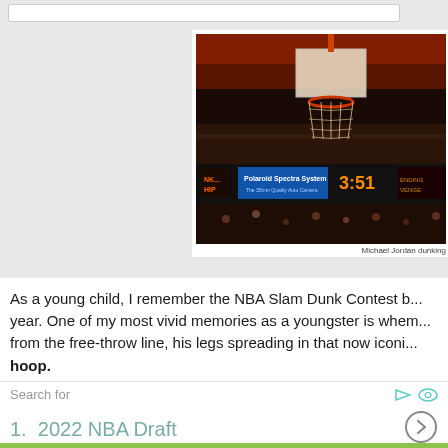[Figure (photo): Basketball hoop photo from an NBA arena, scoreboard showing 3:51, Polaroid Spectra System advertisement visible, crowd in background]
Michael Jordan dunking
As a young child, I remember the NBA Slam Dunk Contest b... year. One of my most vivid memories as a youngster is whem... from the free-throw line, his legs spreading in that now iconi... hoop.
Search for
1.  2022 NBA Draft